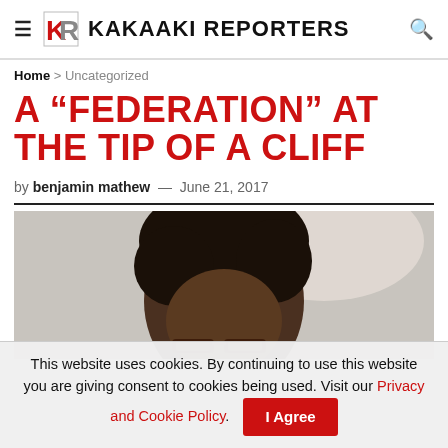KAKAAKI REPORTERS
Home > Uncategorized
A “FEDERATION” AT THE TIP OF A CLIFF
by benjamin mathew — June 21, 2017
[Figure (photo): Close-up photo of a person with afro hair and glasses against a light background]
This website uses cookies. By continuing to use this website you are giving consent to cookies being used. Visit our Privacy and Cookie Policy. I Agree